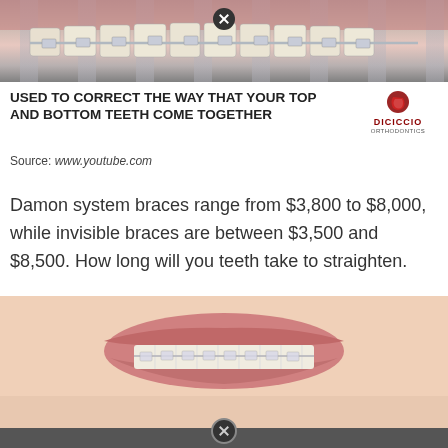[Figure (photo): Close-up photo of teeth with metal dental braces from above, with a close/X button overlay]
USED TO CORRECT THE WAY THAT YOUR TOP AND BOTTOM TEETH COME TOGETHER
[Figure (logo): DiCiccio Orthodontics logo - red circle with D shape and company name]
Source: www.youtube.com
Damon system braces range from $3,800 to $8,000, while invisible braces are between $3,500 and $8,500. How long will you teeth take to straighten.
[Figure (photo): Close-up photo of a smiling person with clear/ceramic dental braces on their teeth]
[Figure (other): Dark bottom bar with close/X button]